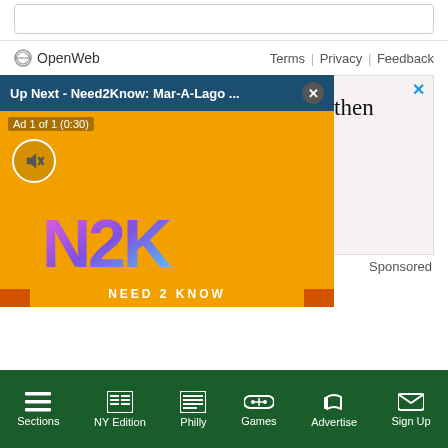[Figure (screenshot): Comment input box, partially visible at top]
OpenWeb   Terms | Privacy | Feedback
[Figure (screenshot): Advertisement banner: 'If we aren't fighting online hate, then who are the real trolls?' with close button (x) in top right]
[Figure (screenshot): Video player overlay: 'Up Next - Need2Know: Mar-A-Lago ...' header with close button. Ad 1 of 1 (0:30). Mute button. N2K / Need 2 Know logo on orange background. Sponsored label.]
Sections | NY Edition | Philly | Games | Advertise | Sign Up